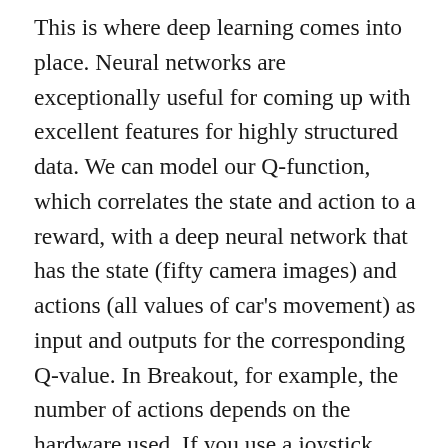This is where deep learning comes into place. Neural networks are exceptionally useful for coming up with excellent features for highly structured data. We can model our Q-function, which correlates the state and action to a reward, with a deep neural network that has the state (fifty camera images) and actions (all values of car's movement) as input and outputs for the corresponding Q-value. In Breakout, for example, the number of actions depends on the hardware used. If you use a joystick, you have 18 actions by default (that is neutral, up, down, left, right, up-left, up-right, down-left, down-right, and also each one of those with the button pressed). In the case of a steering wheel and two pedals, one for accelerating and one for braking, you have more